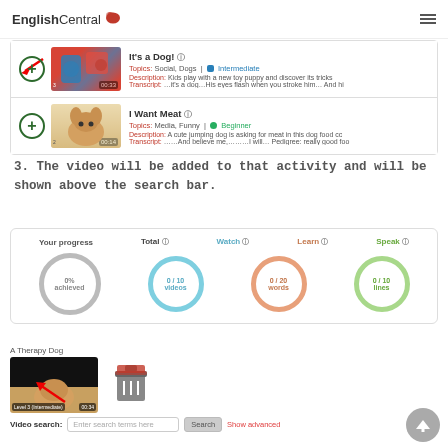[Figure (screenshot): EnglishCentral logo and hamburger menu in header]
[Figure (screenshot): Search results panel showing two video results: 'It's a Dog!' with Intermediate level and 'I Want Meat' with Beginner level, each with a plus icon, thumbnail, and red arrow pointing to the plus button on first item]
3. The video will be added to that activity and will be shown above the search bar.
[Figure (screenshot): Your progress panel showing Total (0% achieved), Watch (0/10 videos), Learn (0/20 words), Speak (0/10 lines) circles]
[Figure (screenshot): A Therapy Dog video thumbnail with red arrow overlay and a delete/trash icon next to it, plus video search bar with input field, Search button, and Show advanced link. A gray scroll-to-top button in bottom right.]